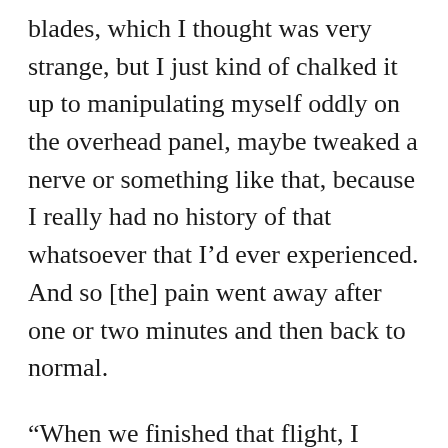blades, which I thought was very strange, but I just kind of chalked it up to manipulating myself oddly on the overhead panel, maybe tweaked a nerve or something like that, because I really had no history of that whatsoever that I'd ever experienced. And so [the] pain went away after one or two minutes and then back to normal.
“When we finished that flight, I actually tested positive again for COVID for the second time, [the] first time I had it was in March of 2021. Second time then would